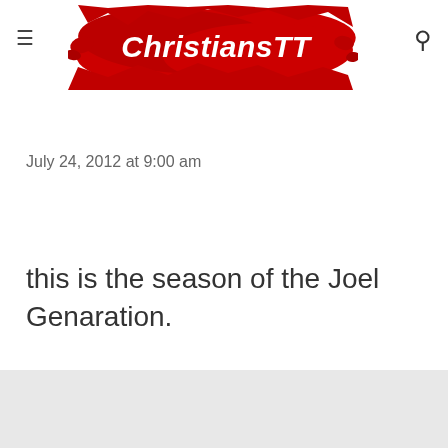ChristiansTT
July 24, 2012 at 9:00 am
this is the season of the Joel Genaration.
Reply